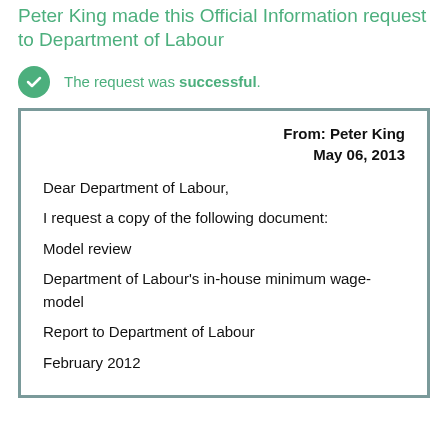Peter King made this Official Information request to Department of Labour
The request was successful.
From: Peter King
May 06, 2013

Dear Department of Labour,

I request a copy of the following document:

Model review

Department of Labour's in-house minimum wage-model

Report to Department of Labour

February 2012